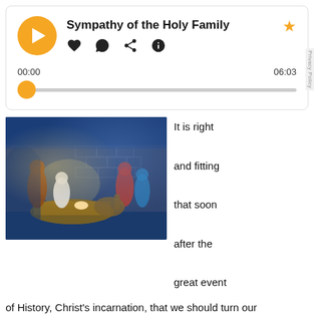Sympathy of the Holy Family
[Figure (screenshot): Audio player UI with play button, action icons (heart, comment, share, info), star bookmark, time display 00:00 and 06:03, and progress bar with thumb at start]
[Figure (photo): Nativity scene diorama with figurines of Mary, Joseph, baby Jesus, wise men, animals, hay, and stone wall backdrop in blue lighting]
It is right and fitting that soon after the great event of History, Christ's incarnation, that we should turn our minds to the natural occurrences which this Birth